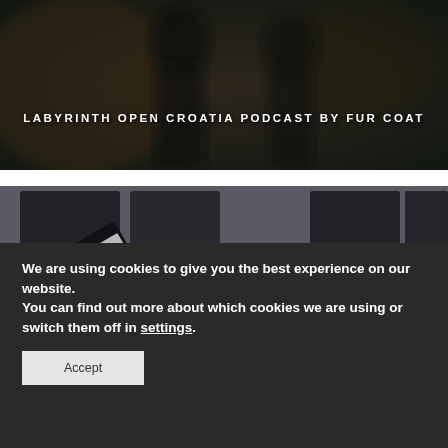[Figure (photo): Blurred outdoor photo with silhouette of person(s), dark moody background]
LABYRINTH OPEN CROATIA PODCAST BY FUR COAT
[Figure (photo): Person in black t-shirt standing in a studio surrounded by synthesizers, keyboards, and music equipment]
We are using cookies to give you the best experience on our website.
You can find out more about which cookies we are using or switch them off in settings.
Accept